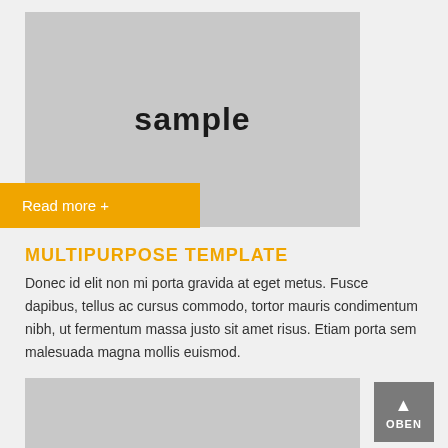[Figure (illustration): Gray placeholder image box with 'sample' text in bold, and an orange 'Read more +' button at the bottom left]
MULTIPURPOSE TEMPLATE
Donec id elit non mi porta gravida at eget metus. Fusce dapibus, tellus ac cursus commodo, tortor mauris condimentum nibh, ut fermentum massa justo sit amet risus. Etiam porta sem malesuada magna mollis euismod.
[Figure (illustration): Gray placeholder image box with 'sample' text in bold, and an orange 'Read more +' button at the bottom left]